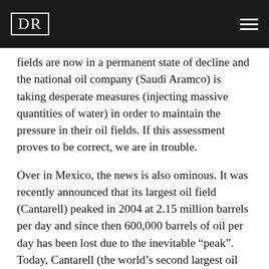DR
fields are now in a permanent state of decline and the national oil company (Saudi Aramco) is taking desperate measures (injecting massive quantities of water) in order to maintain the pressure in their oil fields. If this assessment proves to be correct, we are in trouble.
Over in Mexico, the news is also ominous. It was recently announced that its largest oil field (Cantarell) peaked in 2004 at 2.15 million barrels per day and since then 600,000 barrels of oil per day has been lost due to the inevitable “peak”. Today, Cantarell (the world’s second largest oil field) produces only 1.5 million barrels of oil per day; a sharp fall in a short